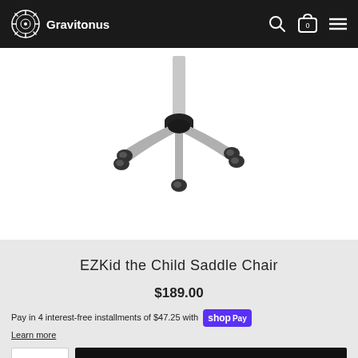Gravitonus
[Figure (photo): Close-up photo of the base and casters of a chair with a 5-star silver/aluminum base with black rubber casters and a central chrome column.]
EZKid the Child Saddle Chair
$189.00
Pay in 4 interest-free installments of $47.25 with Shop Pay
Learn more